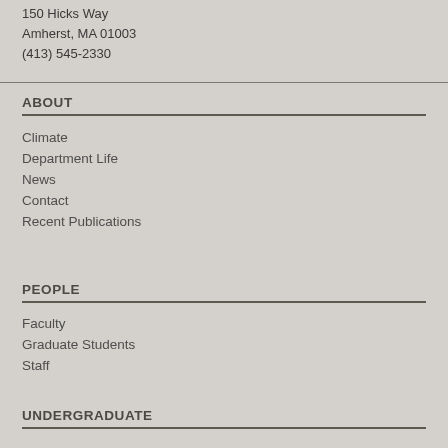150 Hicks Way
Amherst, MA 01003
(413) 545-2330
ABOUT
Climate
Department Life
News
Contact
Recent Publications
PEOPLE
Faculty
Graduate Students
Staff
UNDERGRADUATE